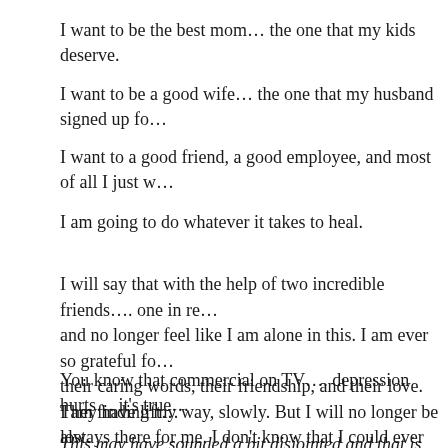I want to be the best mom… the one that my kids deserve.
I want to be a good wife… the one that my husband signed up fo…
I want to a good friend, a good employee, and most of all I just w…
I am going to do whatever it takes to heal.
I will say that with the help of two incredible friends…. one in re… and no longer feel like I am alone in this. I am ever so grateful fo… their caring words, their friendship, and their love. They have lift… always there for me. I don't know that I could ever repay them fo…
You know that commercial on TV…. depression hurts… it's true…
I am finding my way, slowly. But I will no longer be lost.
This may have sounded a bit disjointed and that is because I simp…